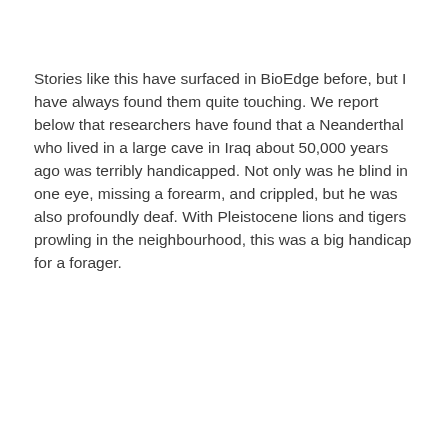Stories like this have surfaced in BioEdge before, but I have always found them quite touching. We report below that researchers have found that a Neanderthal who lived in a large cave in Iraq about 50,000 years ago was terribly handicapped. Not only was he blind in one eye, missing a forearm, and crippled, but he was also profoundly deaf. With Pleistocene lions and tigers prowling in the neighbourhood, this was a big handicap for a forager.